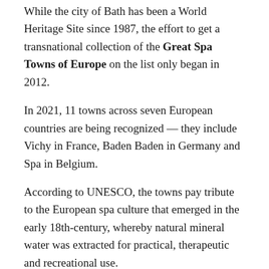While the city of Bath has been a World Heritage Site since 1987, the effort to get a transnational collection of the Great Spa Towns of Europe on the list only began in 2012.
In 2021, 11 towns across seven European countries are being recognized — they include Vichy in France, Baden Baden in Germany and Spa in Belgium.
According to UNESCO, the towns pay tribute to the European spa culture that emerged in the early 18th-century, whereby natural mineral water was extracted for practical, therapeutic and recreational use.
People gargling in a thermal spa in Vichy, France, circa 1915.
API | Gamma-Rapho | Getty Images